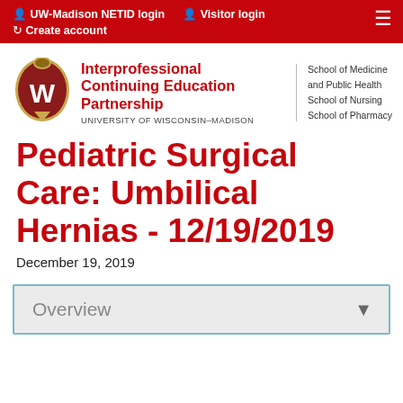UW-Madison NETID login  Visitor login  Create account
[Figure (logo): University of Wisconsin-Madison Interprofessional Continuing Education Partnership logo with crest]
Pediatric Surgical Care: Umbilical Hernias - 12/19/2019
December 19, 2019
Overview